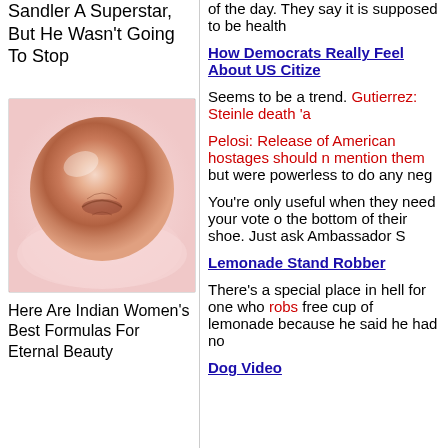Sandler A Superstar, But He Wasn't Going To Stop
[Figure (photo): Close-up photo of a pink/copper-toned spherical object on pink tissue paper]
Here Are Indian Women's Best Formulas For Eternal Beauty
of the day. They say it is supposed to be health
How Democrats Really Feel About US Citize
Seems to be a trend. Gutierrez: Steinle death 'a
Pelosi: Release of American hostages should n mention them but were powerless to do any neg
You're only useful when they need your vote o the bottom of their shoe. Just ask Ambassador S
Lemonade Stand Robber
There's a special place in hell for one who robs free cup of lemonade because he said he had no
Dog Video